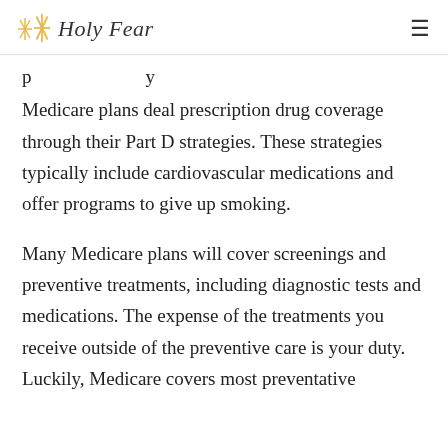✦ Holy Fear
p...y
Medicare plans deal prescription drug coverage through their Part D strategies. These strategies typically include cardiovascular medications and offer programs to give up smoking.
Many Medicare plans will cover screenings and preventive treatments, including diagnostic tests and medications. The expense of the treatments you receive outside of the preventive care is your duty. Luckily, Medicare covers most preventative